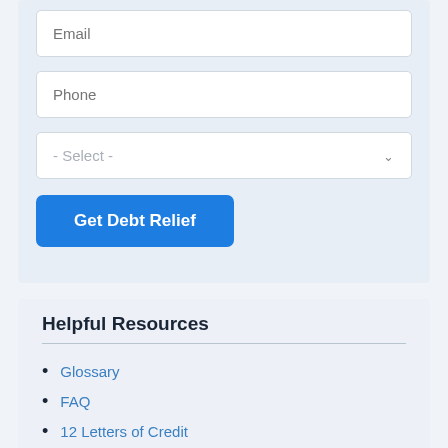[Figure (screenshot): Web form with Email input field (placeholder text 'Email')]
[Figure (screenshot): Web form with Phone input field (placeholder text 'Phone')]
[Figure (screenshot): Web form dropdown select field with option '- Select -']
[Figure (screenshot): Blue button labeled 'Get Debt Relief']
Helpful Resources
Glossary
FAQ
12 Letters of Credit